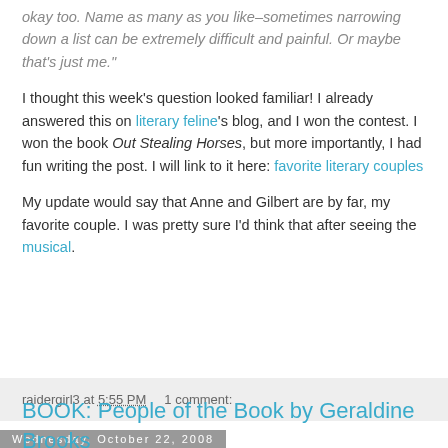okay too. Name as many as you like–sometimes narrowing down a list can be extremely difficult and painful. Or maybe that's just me."
I thought this week's question looked familiar! I already answered this on literary feline's blog, and I won the contest. I won the book Out Stealing Horses, but more importantly, I had fun writing the post. I will link to it here: favorite literary couples
My update would say that Anne and Gilbert are by far, my favorite couple. I was pretty sure I'd think that after seeing the musical.
raidergirl3 at 5:55 PM     1 comment:
Wednesday, October 22, 2008
BOOK: People of the Book by Geraldine Brooks